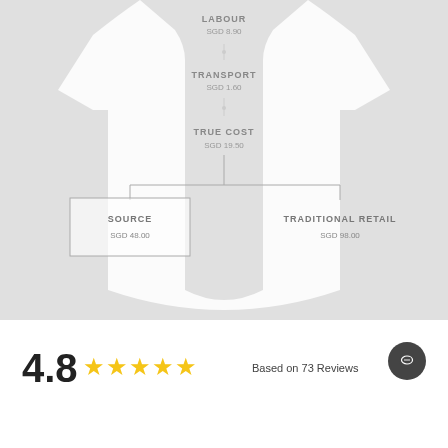[Figure (infographic): White t-shirt infographic showing cost breakdown: Labour SGD 8.90, Transport SGD 1.60, True Cost SGD 19.50, branching to Source SGD 48.00 and Traditional Retail SGD 98.00]
4.8 ★★★★★ Based on 73 Reviews